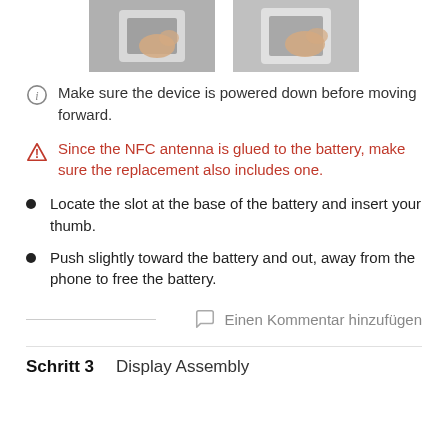[Figure (photo): Two photos showing hands removing a battery from a phone, cropped at the top of the page]
Make sure the device is powered down before moving forward.
Since the NFC antenna is glued to the battery, make sure the replacement also includes one.
Locate the slot at the base of the battery and insert your thumb.
Push slightly toward the battery and out, away from the phone to free the battery.
Einen Kommentar hinzufügen
Schritt 3    Display Assembly